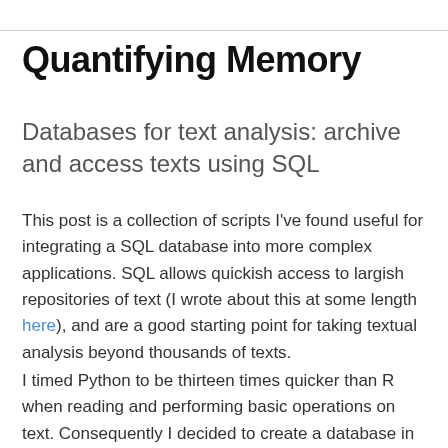Quantifying Memory
Databases for text analysis: archive and access texts using SQL
This post is a collection of scripts I've found useful for integrating a SQL database into more complex applications. SQL allows quickish access to largish repositories of text (I wrote about this at some length here), and are a good starting point for taking textual analysis beyond thousands of texts.
I timed Python to be thirteen times quicker than R when reading and performing basic operations on text. Consequently I decided to create a database in SQL which I accessed through a Python script. Finally I put a wrapper